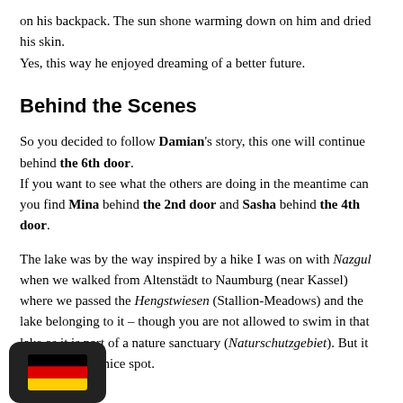on his backpack. The sun shone warming down on him and dried his skin.
Yes, this way he enjoyed dreaming of a better future.
Behind the Scenes
So you decided to follow Damian's story, this one will continue behind the 6th door.
If you want to see what the others are doing in the meantime can you find Mina behind the 2nd door and Sasha behind the 4th door.
The lake was by the way inspired by a hike I was on with Nazgul when we walked from Altenstädt to Naumburg (near Kassel) where we passed the Hengstwiesen (Stallion-Meadows) and the lake belonging to it – though you are not allowed to swim in that lake as it is part of a nature sanctuary (Naturschutzgebiet). But it really is a very nice spot.
[Figure (other): German flag emoji widget in a dark rounded rectangle at the bottom left corner]